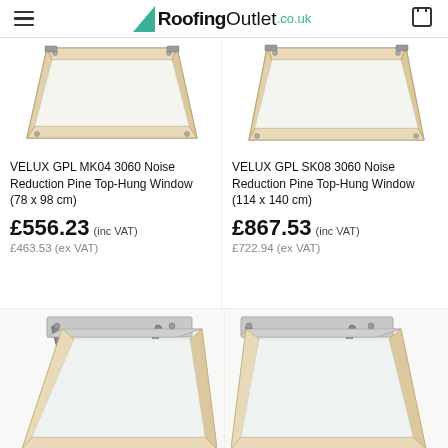RoofingOutlet.co.uk
[Figure (photo): VELUX GPL MK04 3060 roof window frame product photo, top-hung, natural pine, viewed from below at an angle]
VELUX GPL MK04 3060 Noise Reduction Pine Top-Hung Window (78 x 98 cm)
£556.23 (inc VAT)
£463.53 (ex VAT)
[Figure (photo): VELUX GPL SK08 3060 roof window frame product photo, top-hung, natural pine, viewed from below at an angle]
VELUX GPL SK08 3060 Noise Reduction Pine Top-Hung Window (114 x 140 cm)
£867.53 (inc VAT)
£722.94 (ex VAT)
[Figure (photo): VELUX roof window product photo bottom-left, partially visible, showing top portion of window with opener mechanism]
[Figure (photo): VELUX roof window product photo bottom-right, partially visible, showing top portion of window with opener mechanism]